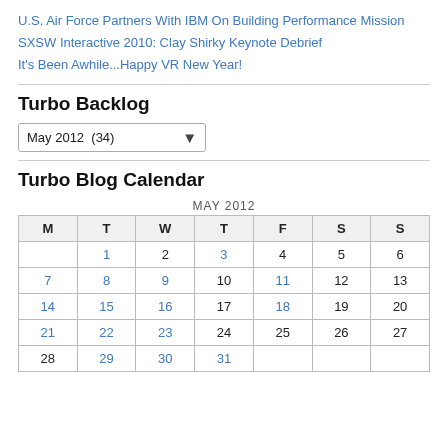U.S. Air Force Partners With IBM On Building Performance Mission
SXSW Interactive 2010: Clay Shirky Keynote Debrief
It's Been Awhile...Happy VR New Year!
Turbo Backlog
May 2012  (34)
Turbo Blog Calendar
| M | T | W | T | F | S | S |
| --- | --- | --- | --- | --- | --- | --- |
|  | 1 | 2 | 3 | 4 | 5 | 6 |
| 7 | 8 | 9 | 10 | 11 | 12 | 13 |
| 14 | 15 | 16 | 17 | 18 | 19 | 20 |
| 21 | 22 | 23 | 24 | 25 | 26 | 27 |
| 28 | 29 | 30 | 31 |  |  |  |